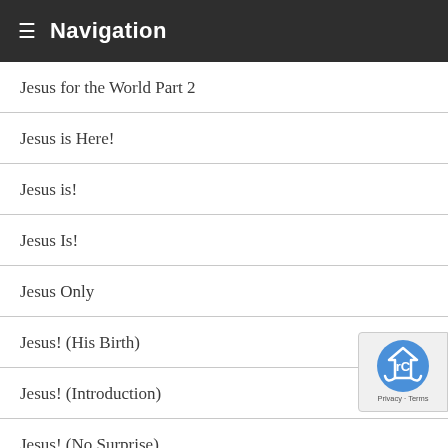Navigation
Jesus for the World Part 2
Jesus is Here!
Jesus is!
Jesus Is!
Jesus Only
Jesus! (His Birth)
Jesus! (Introduction)
Jesus! (No Surprise)
Jesus! (The Reason)